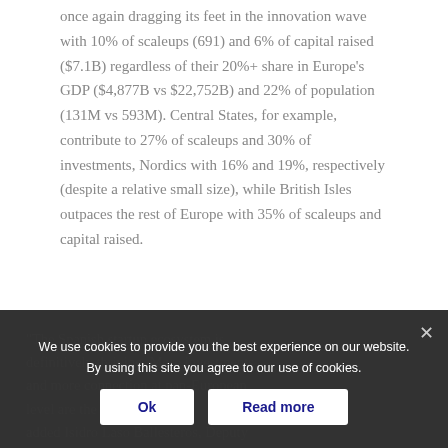once again dragging its feet in the innovation wave with 10% of scaleups (691) and 6% of capital raised ($7.1B) regardless of their 20%+ share in Europe's GDP ($4,877B vs $22,752B) and 22% of population (131M vs 593M). Central States, for example, contribute to 27% of scaleups and 30% of investments, Nordics with 16% and 19%, respectively (despite a relative small size), while British Isles outpaces the rest of Europe with 35% of scaleups and capital raised.
"The Spanish startup ecosystem is definitely thriving. More investments and more connection at pan-European level are the next step." – added Isidro Laso Ballesteros, Deputy
We use cookies to provide you the best experience on our website. By using this site you agree to our use of cookies.